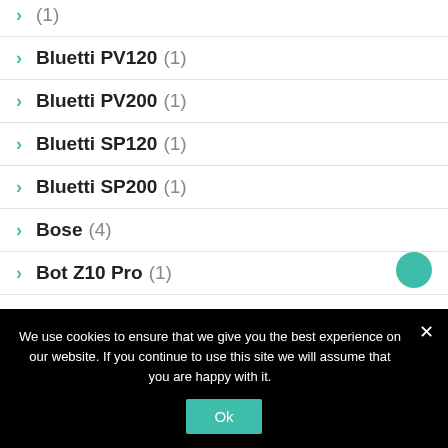Bluetti PV120 (1)
Bluetti PV200 (1)
Bluetti SP120 (1)
Bluetti SP200 (1)
Bose (4)
Bot Z10 Pro (1)
Cables (1)
We use cookies to ensure that we give you the best experience on our website. If you continue to use this site we will assume that you are happy with it.